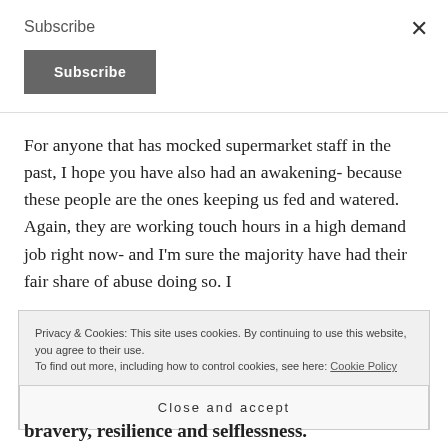Subscribe
Subscribe
×
For anyone that has mocked supermarket staff in the past, I hope you have also had an awakening- because these people are the ones keeping us fed and watered. Again, they are working touch hours in a high demand job right now- and I'm sure the majority have had their fair share of abuse doing so. I
Privacy & Cookies: This site uses cookies. By continuing to use this website, you agree to their use.
To find out more, including how to control cookies, see here: Cookie Policy
Close and accept
bravery, resilience and selflessness.